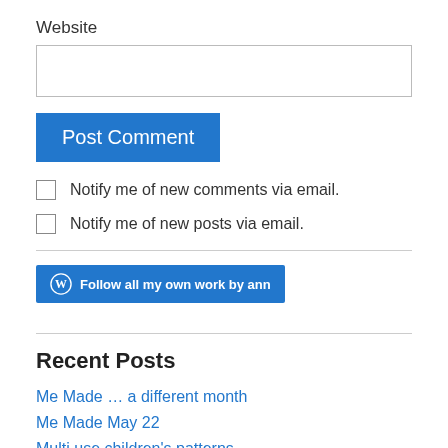Website
Post Comment
Notify me of new comments via email.
Notify me of new posts via email.
Follow all my own work by ann
Recent Posts
Me Made … a different month
Me Made May 22
Multi use children's patterns